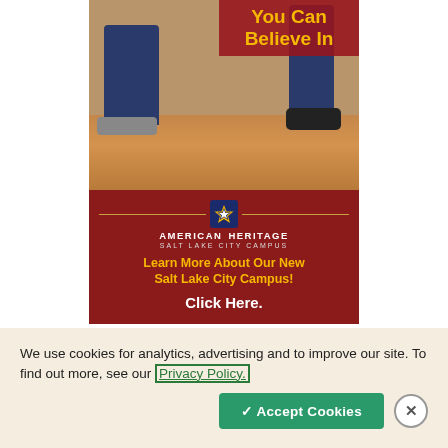[Figure (illustration): Advertisement image for American Heritage Salt Lake City Campus showing two people sitting on a wooden floor from the waist down (legs visible), with a dark red/maroon overlay box in the upper right containing gold text 'You Can Believe In'. Below the photo is a dark red banner with the American Heritage logo, text 'Salt Lake City Campus', a gold tagline 'Learn More About Our New Salt Lake City Campus!', and white bold text 'Click Here.']
We use cookies for analytics, advertising and to improve our site. To find out more, see our Privacy Policy.
✓ Accept Cookies